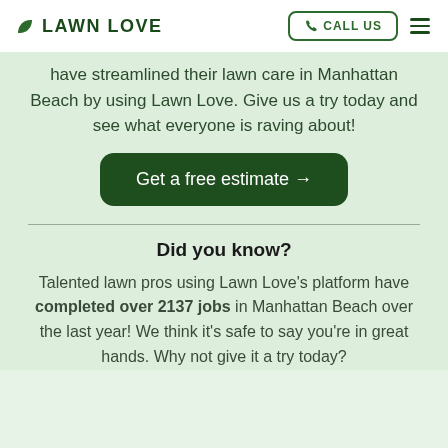LAWN LOVE | CALL US
have streamlined their lawn care in Manhattan Beach by using Lawn Love. Give us a try today and see what everyone is raving about!
Get a free estimate →
Did you know?
Talented lawn pros using Lawn Love's platform have completed over 2137 jobs in Manhattan Beach over the last year! We think it's safe to say you're in great hands. Why not give it a try today?